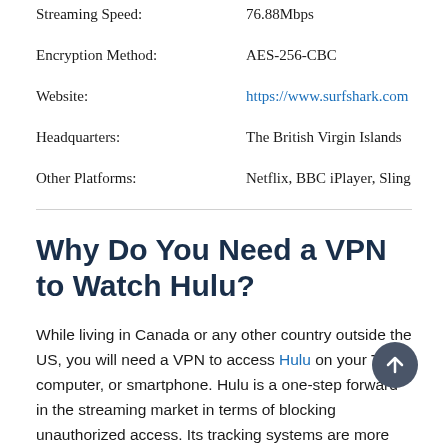| Property | Value |
| --- | --- |
| Streaming Speed: | 76.88Mbps |
| Encryption Method: | AES-256-CBC |
| Website: | https://www.surfshark.com |
| Headquarters: | The British Virgin Islands |
| Other Platforms: | Netflix, BBC iPlayer, Sling TV, D… |
Why Do You Need a VPN to Watch Hulu?
While living in Canada or any other country outside the US, you will need a VPN to access Hulu on your TV, computer, or smartphone. Hulu is a one-step forward in the streaming market in terms of blocking unauthorized access. Its tracking systems are more